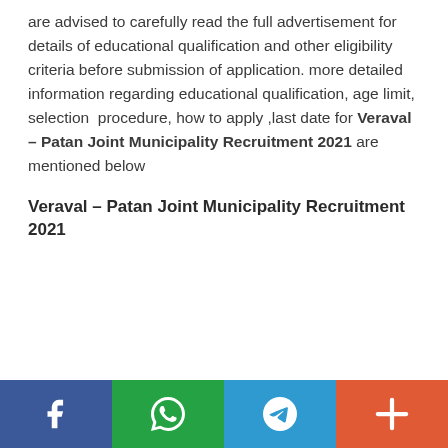are advised to carefully read the full advertisement for details of educational qualification and other eligibility criteria before submission of application. more detailed information regarding educational qualification, age limit, selection procedure, how to apply ,last date for Veraval – Patan Joint Municipality Recruitment 2021 are mentioned below
Veraval – Patan Joint Municipality Recruitment 2021